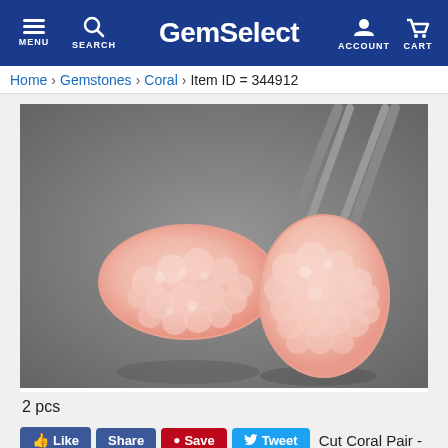GemSelect — MENU SEARCH ACCOUNT CART
Home > Gemstones > Coral > Item ID = 344912
[Figure (photo): Two carved pink coral gemstones held by tweezers, showing flower/petal relief carving. Photographed on a gray background.]
2 pcs
Cut Coral Pair -